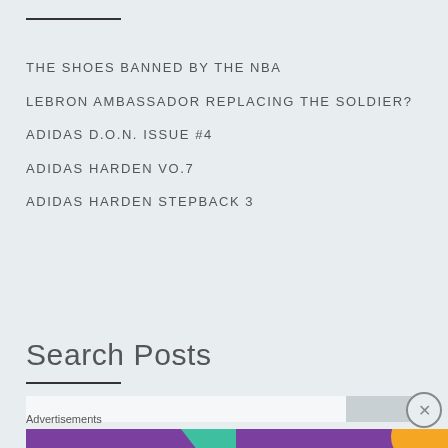THE SHOES BANNED BY THE NBA
LEBRON AMBASSADOR REPLACING THE SOLDIER?
ADIDAS D.O.N. ISSUE #4
ADIDAS HARDEN VO.7
ADIDAS HARDEN STEPBACK 3
Search Posts
Advertisements
[Figure (other): WooCommerce advertisement banner: 'How to start selling subscriptions online']